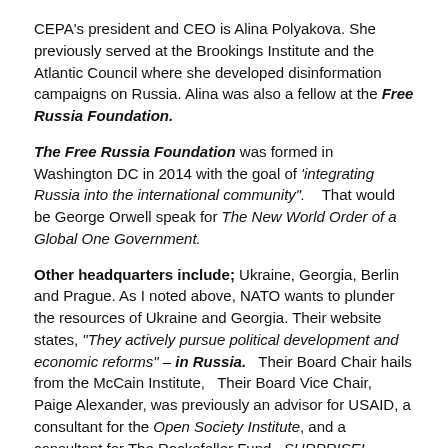CEPA's president and CEO is Alina Polyakova. She previously served at the Brookings Institute and the Atlantic Council where she developed disinformation campaigns on Russia. Alina was also a fellow at the Free Russia Foundation.
The Free Russia Foundation was formed in Washington DC in 2014 with the goal of 'integrating Russia into the international community". That would be George Orwell speak for The New World Order of a Global One Government.
Other headquarters include; Ukraine, Georgia, Berlin and Prague. As I noted above, NATO wants to plunder the resources of Ukraine and Georgia. Their website states, "They actively pursue political development and economic reforms" – in Russia. Their Board Chair hails from the McCain Institute, Their Board Vice Chair, Paige Alexander, was previously an advisor for USAID, a consultant for the Open Society Institute, and a consultant for The Rockefeller Fund. SURPRISE!